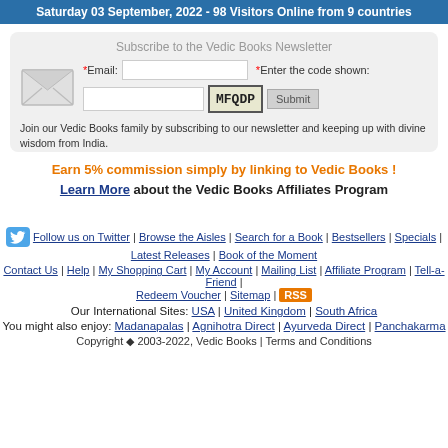Saturday 03 September, 2022  - 98 Visitors Online  from 9 countries
Subscribe to the Vedic Books Newsletter
Join our Vedic Books family by subscribing to our newsletter and keeping up with divine wisdom from India.
Earn 5% commission simply by linking to Vedic Books ! Learn More about the Vedic Books Affiliates Program
Follow us on Twitter | Browse the Aisles | Search for a Book | Bestsellers | Specials | Latest Releases | Book of the Moment
Contact Us | Help | My Shopping Cart | My Account | Mailing List | Affiliate Program | Tell-a-Friend | Redeem Voucher | Sitemap | RSS
Our International Sites: USA | United Kingdom | South Africa
You might also enjoy: Madanapalas | Agnihotra Direct | Ayurveda Direct | Panchakarma
Copyright ◆ 2003-2022, Vedic Books | Terms and Conditions